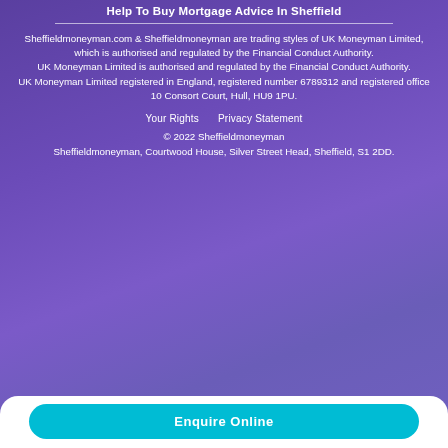Help To Buy Mortgage Advice In Sheffield
Sheffieldmoneyman.com & Sheffieldmoneyman are trading styles of UK Moneyman Limited, which is authorised and regulated by the Financial Conduct Authority.
UK Moneyman Limited is authorised and regulated by the Financial Conduct Authority.
UK Moneyman Limited registered in England, registered number 6789312 and registered office 10 Consort Court, Hull, HU9 1PU.
Your Rights   Privacy Statement
© 2022 Sheffieldmoneyman
Sheffieldmoneyman, Courtwood House, Silver Street Head, Sheffield, S1 2DD.
Enquire Online